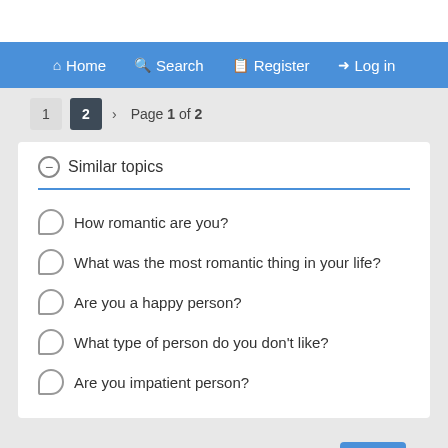Home  Search  Register  Log in
1  2  >  Page 1 of 2
Similar topics
How romantic are you?
What was the most romantic thing in your life?
Are you a happy person?
What type of person do you don't like?
Are you impatient person?
Jump to:  Select a forum  Go
Permissions in this forum: